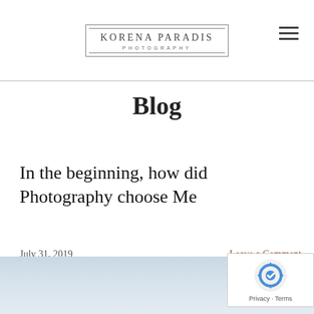[Figure (logo): Korena Paradis Photography logo in a double-bordered rectangle with the name in uppercase serif and PHOTOGRAPHY in small caps below]
Blog
In the beginning, how did Photography choose Me
July 31, 2019
Leave a Comment
[Figure (screenshot): Pinterest Pin it button and Twitter Tweet button]
[Figure (photo): Light blue-grey cloudy sky photograph at bottom of page]
[Figure (other): Google reCAPTCHA badge with rotating arrows logo and Privacy - Terms text]